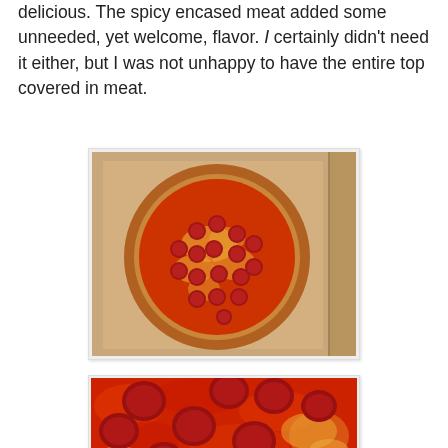delicious. The spicy encased meat added some unneeded, yet welcome, flavor. I certainly didn't need it either, but I was not unhappy to have the entire top covered in meat.
[Figure (photo): A pepperoni pizza in an open cardboard box, viewed from above, with heavy pepperoni coverage across the entire top.]
[Figure (photo): A close-up view of a pizza heavily covered in red tomato sauce and pepperoni slices, showing the texture of the toppings in detail.]